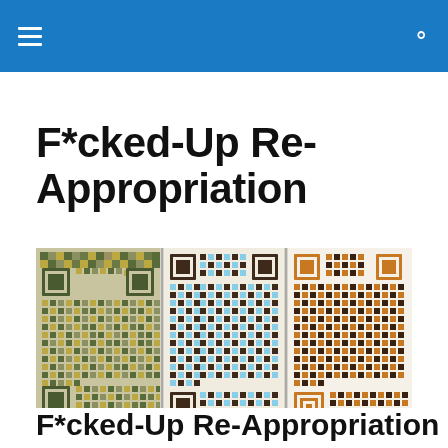F*cked-Up Re-Appropriation
[Figure (photo): Three QR code artworks displayed side by side on a wall. Left panel shows a colorful mosaic-style QR code in muted greens and golds. Center panel features a QR code in brown and light blue. Right panel shows a QR code in orange/gold tones on a white background. Artwork by Vanessa Hodgekinson titled 'The Origin of the World'.]
Vanessa Hodgekinson's The Origin of the World
F*cked-Up Re-Appropriation